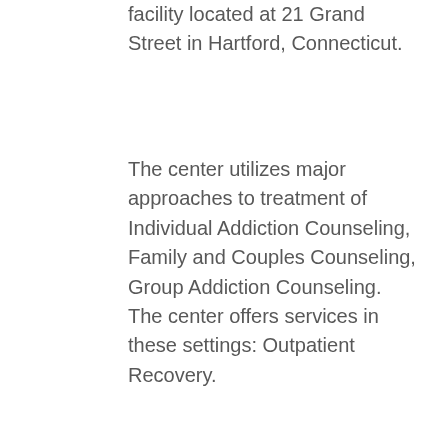facility located at 21 Grand Street in Hartford, Connecticut.
The center utilizes major approaches to treatment of Individual Addiction Counseling, Family and Couples Counseling, Group Addiction Counseling. The center offers services in these settings: Outpatient Recovery.
Charter Oak Health Center Inc Behavioral Health Services also provides clients with a number of special programs designed specifically for the needs of people, such as: Drug and Alcohol Treatment for Persons with Co-Occurring Substance Use and Mental Disorders, Drug and Alcohol Treatment for